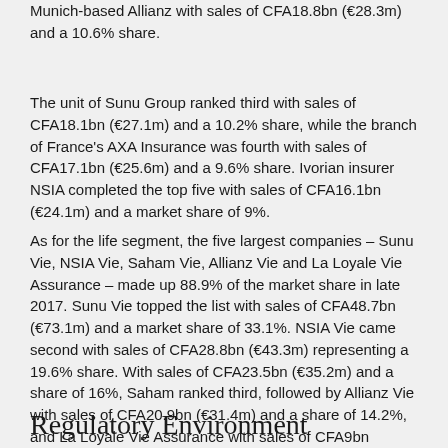Munich-based Allianz with sales of CFA18.8bn (€28.3m) and a 10.6% share.
The unit of Sunu Group ranked third with sales of CFA18.1bn (€27.1m) and a 10.2% share, while the branch of France's AXA Insurance was fourth with sales of CFA17.1bn (€25.6m) and a 9.6% share. Ivorian insurer NSIA completed the top five with sales of CFA16.1bn (€24.1m) and a market share of 9%.
As for the life segment, the five largest companies – Sunu Vie, NSIA Vie, Saham Vie, Allianz Vie and La Loyale Vie Assurance – made up 88.9% of the market share in late 2017. Sunu Vie topped the list with sales of CFA48.7bn (€73.1m) and a market share of 33.1%. NSIA Vie came second with sales of CFA28.8bn (€43.3m) representing a 19.6% share. With sales of CFA23.5bn (€35.2m) and a share of 16%, Saham ranked third, followed by Allianz Vie with sales of CFA20.9bn (€31.4m) and a share of 14.2%, and La Loyale Vie Assurance with sales of CFA9bn (€13.5m) or a share of 6.1%.
Regulatory Environment